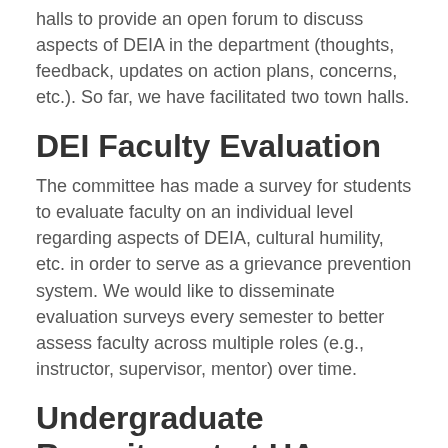halls to provide an open forum to discuss aspects of DEIA in the department (thoughts, feedback, updates on action plans, concerns, etc.). So far, we have facilitated two town halls.
DEI Faculty Evaluation
The committee has made a survey for students to evaluate faculty on an individual level regarding aspects of DEIA, cultural humility, etc. in order to serve as a grievance prevention system. We would like to disseminate evaluation surveys every semester to better assess faculty across multiple roles (e.g., instructor, supervisor, mentor) over time.
Undergraduate Recruitment at UA
The committee is working to implement systems to recruit UA undergraduates of underrepresented